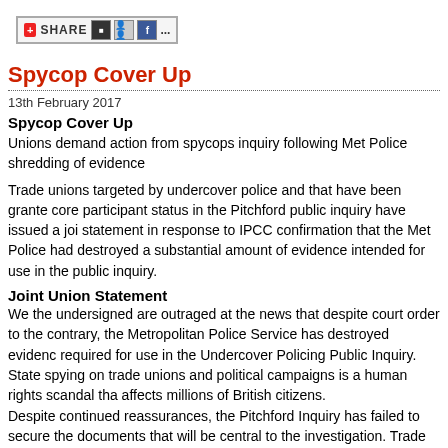[Figure (other): Share button bar with social media icons]
Spycop Cover Up
13th February 2017
Spycop Cover Up
Unions demand action from spycops inquiry following Met Police shredding of evidence
Trade unions targeted by undercover police and that have been granted core participant status in the Pitchford public inquiry have issued a joint statement in response to IPCC confirmation that the Met Police had destroyed a substantial amount of evidence intended for use in the public inquiry.
Joint Union Statement
We the undersigned are outraged at the news that despite court orders to the contrary, the Metropolitan Police Service has destroyed evidence required for use in the Undercover Policing Public Inquiry. State spying on trade unions and political campaigns is a human rights scandal that affects millions of British citizens.
Despite continued reassurances, the Pitchford Inquiry has failed to secure the documents that will be central to the investigation. Trade union core participants are beginning to question whether the Inquiry team has the ability to stop the police from obstructing the pursuit of justice. Lord Justice Pitchford needs to act now to restore our faith.
We are calling on Lord Justice Pitchford to announce an urgent Inquiry